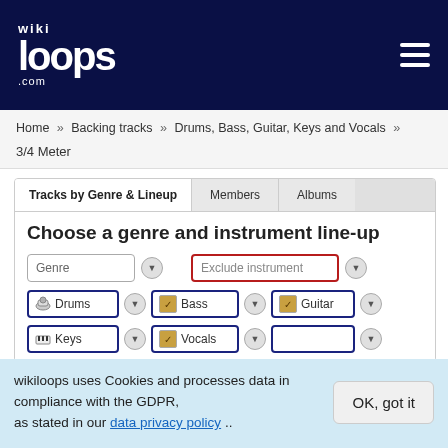wikiloops.com
Home » Backing tracks » Drums, Bass, Guitar, Keys and Vocals » 3/4 Meter
Tracks by Genre & Lineup
Members
Albums
Choose a genre and instrument line-up
Genre | Exclude instrument
Drums | Bass | Guitar | Keys | Vocals
wikiloops uses Cookies and processes data in compliance with the GDPR, as stated in our data privacy policy ..